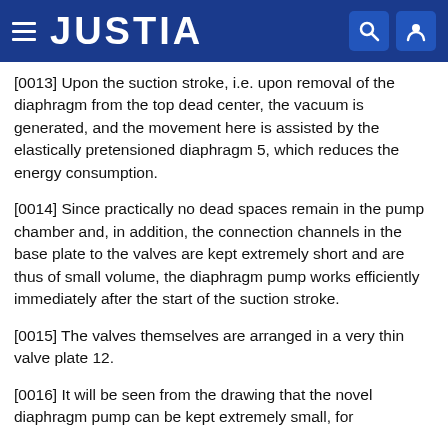JUSTIA
[0013] Upon the suction stroke, i.e. upon removal of the diaphragm from the top dead center, the vacuum is generated, and the movement here is assisted by the elastically pretensioned diaphragm 5, which reduces the energy consumption.
[0014] Since practically no dead spaces remain in the pump chamber and, in addition, the connection channels in the base plate to the valves are kept extremely short and are thus of small volume, the diaphragm pump works efficiently immediately after the start of the suction stroke.
[0015] The valves themselves are arranged in a very thin valve plate 12.
[0016] It will be seen from the drawing that the novel diaphragm pump can be kept extremely small, for